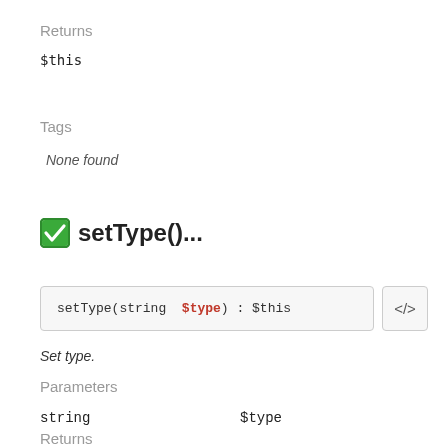Returns
$this
Tags
None found
setType()...
setType(string $type) : $this
Set type.
Parameters
|  |  |
| --- | --- |
| string | $type |
Returns